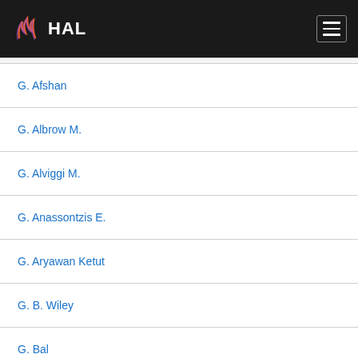HAL
G. Afshan
G. Albrow M.
G. Alviggi M.
G. Anassontzis E.
G. Aryawan Ketut
G. B. Wiley
G. Bal
G. Barrera Rubén
G. Bates A.
G. Beauvallet